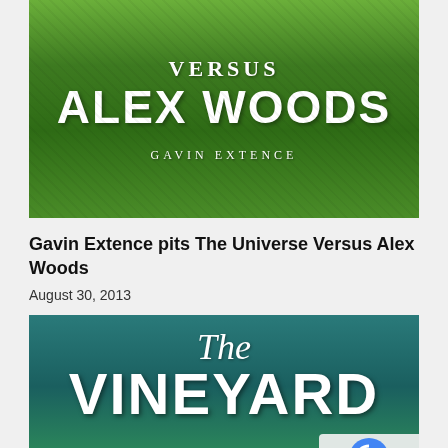[Figure (illustration): Book cover for 'The Universe Versus Alex Woods' by Gavin Extence. Green hedge background with large white bold text 'ALEX WOODS' and smaller text 'VERSUS' above and 'GAVIN EXTENCE' below.]
Gavin Extence pits The Universe Versus Alex Woods
August 30, 2013
[Figure (illustration): Book cover for 'The Vineyard'. Teal/green mountain landscape background with italic script 'The' above and large bold white text 'VINEYARD' below. A reCAPTCHA overlay appears in the bottom right corner.]